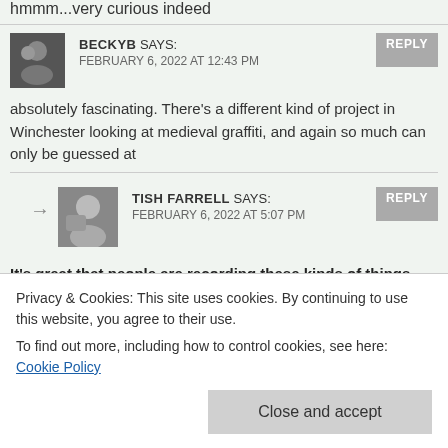hmmm...very curious indeed
BECKYB SAYS:
FEBRUARY 6, 2022 AT 12:43 PM
absolutely fascinating. There's a different kind of project in Winchester looking at medieval graffiti, and again so much can only be guessed at
TISH FARRELL SAYS:
FEBRUARY 6, 2022 AT 5:07 PM
It's great that people are recording these kinds of things even if we don't understand them.
Privacy & Cookies: This site uses cookies. By continuing to use this website, you agree to their use.
To find out more, including how to control cookies, see here: Cookie Policy
Close and accept